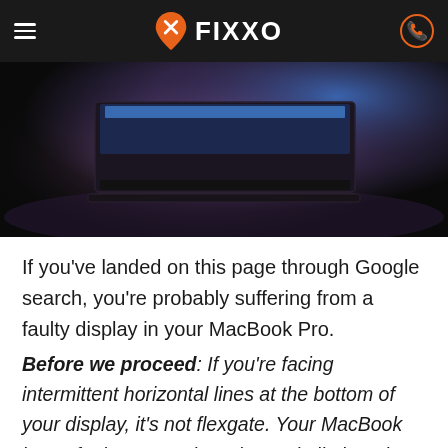FIXXO
[Figure (photo): MacBook Pro laptop on a dark surface with purple and blue ambient lighting from behind, screen partially visible]
If you've landed on this page through Google search, you're probably suffering from a faulty display in your MacBook Pro.
Before we proceed: If you're facing intermittent horizontal lines at the bottom of your display, it's not flexgate. Your MacBook has a faulty T-CON board. Read all about it here: MacBook Pro: